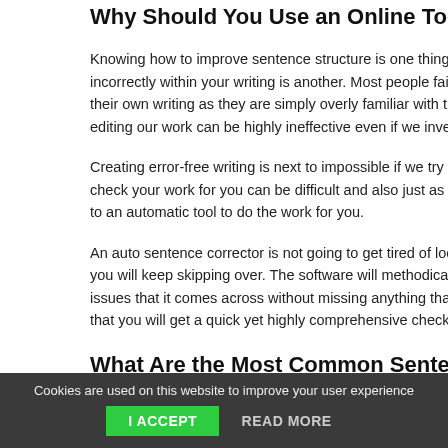Why Should You Use an Online Tool to C...
Knowing how to improve sentence structure is one thing, being able to spot where you have used it incorrectly within your writing is another. Most people fail to see errors within their own writing as they are simply overly familiar with the work. Self-editing our work can be highly ineffective even if we invest man...
Creating error-free writing is next to impossible if we try to do it ourselves. Getting others to check your work for you can be difficult and also just as time-consuming. This is why many turn to an automatic tool to do the work for you.
An auto sentence corrector is not going to get tired of looking at errors in the same places that you will keep skipping over. The software will methodically work through your text fixing issues that it comes across without missing anything that it is programmed to check. This means that you will get a quick yet highly comprehensive check of you...
What Are the Most Common Sentence Er...
There are many different ways that you can write and along with the errors that you could make. There are many grammatical rules that must be...
Cookies are used on this website to improve your user experience